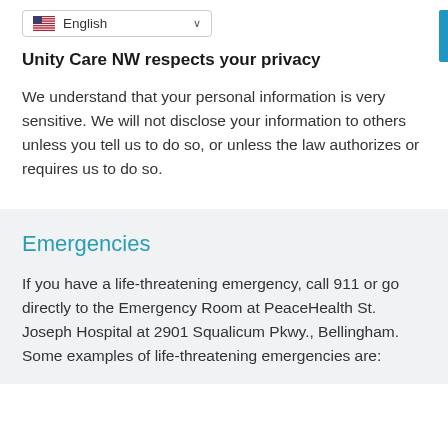[Figure (screenshot): Language selector dropdown showing US flag and 'English' with a chevron arrow]
Unity Care NW respects your privacy
We understand that your personal information is very sensitive. We will not disclose your information to others unless you tell us to do so, or unless the law authorizes or requires us to do so.
Emergencies
If you have a life-threatening emergency, call 911 or go directly to the Emergency Room at PeaceHealth St. Joseph Hospital at 2901 Squalicum Pkwy., Bellingham. Some examples of life-threatening emergencies are: